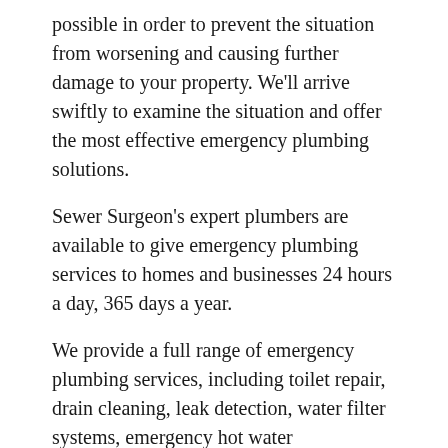possible in order to prevent the situation from worsening and causing further damage to your property. We'll arrive swiftly to examine the situation and offer the most effective emergency plumbing solutions.
Sewer Surgeon's expert plumbers are available to give emergency plumbing services to homes and businesses 24 hours a day, 365 days a year.
We provide a full range of emergency plumbing services, including toilet repair, drain cleaning, leak detection, water filter systems, emergency hot water replacement, clogged drains, burst taps, and leaking toilets, among others.
When you have a plumbing issue, it is critical to act fast. You don't want to waste time looking for a plumber in your neighbourhood who is available late at night, on weekends, and on holidays and won't overcharge you for a